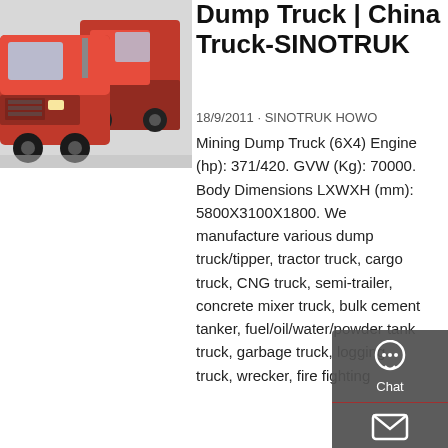[Figure (photo): Red SINOTRUK HOWO trucks parked in a lot, side/front view showing large red semi-trucks]
Dump Truck | China Truck-SINOTRUK
18/9/2011 · SINOTRUK HOWO Mining Dump Truck (6X4) Engine (hp): 371/420. GVW (Kg): 70000. Body Dimensions LXWXH (mm): 5800X3100X1800. We manufacture various dump truck/tipper, tractor truck, cargo truck, CNG truck, semi-trailer, concrete mixer truck, bulk cement tanker, fuel/oil/water/powder tank truck, garbage truck, logging truck, wrecker, fire fighting